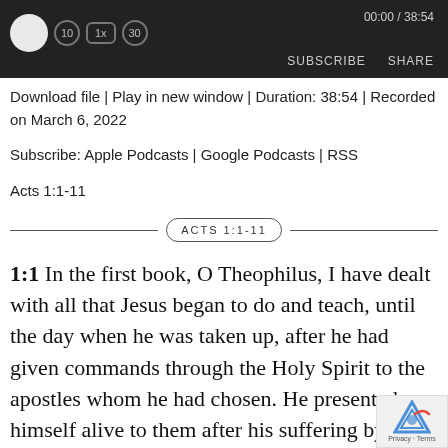[Figure (screenshot): Podcast player bar with dark background, play controls, time display 00:00 / 38:54, SUBSCRIBE and SHARE buttons]
Download file | Play in new window | Duration: 38:54 | Recorded on March 6, 2022
Subscribe: Apple Podcasts | Google Podcasts | RSS
Acts 1:1-11
ACTS 1:1-11
1:1 In the first book, O Theophilus, I have dealt with all that Jesus began to do and teach, until the day when he was taken up, after he had given commands through the Holy Spirit to the apostles whom he had chosen. He presented himself alive to them after his suffering by many proofs